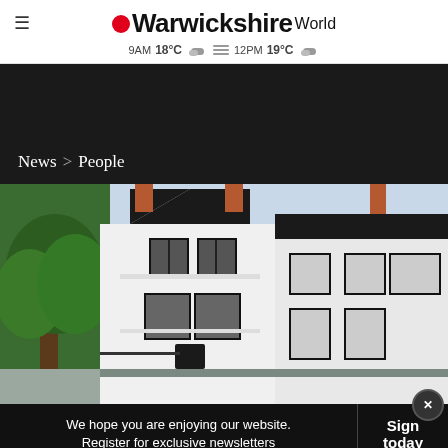Warwickshire World — 9AM 18°C  12PM 19°C
News > People
[Figure (photo): Exterior of white Victorian terraced houses with black window frames, a large green tree on the left, and red brick chimneys. Bright daytime photo.]
We hope you are enjoying our website. Register for exclusive newsletters
Sign today